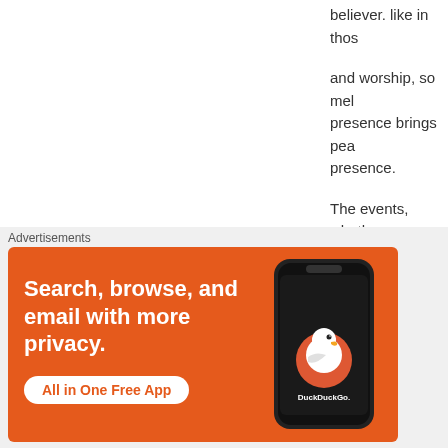believer.  like in thos
and worship, so mel presence brings pea presence.
The events, whether majesty, His glory, H times, all other thing
May it be we see it r
(1)   Escriva, Josema Kindle Edition.
Share this:
[Figure (screenshot): DuckDuckGo advertisement banner with text 'Search, browse, and email with more privacy. All in One Free App' and a phone graphic with DuckDuckGo logo.]